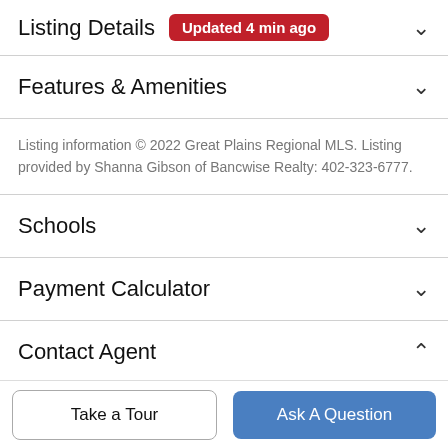Listing Details — Updated 4 min ago
Features & Amenities
Listing information © 2022 Great Plains Regional MLS. Listing provided by Shanna Gibson of Bancwise Realty: 402-323-6777.
Schools
Payment Calculator
Contact Agent
[Figure (photo): Partial view of a person's head (agent photo) in a circular avatar]
Take a Tour
Ask A Question